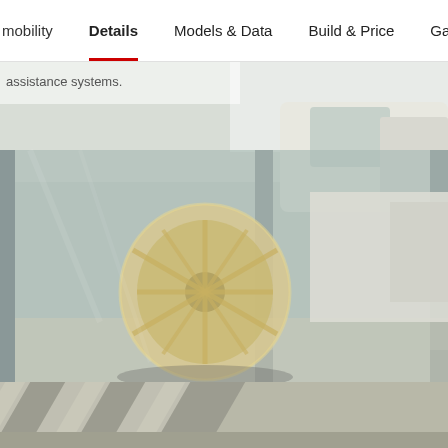mobility  Details  Models & Data  Build & Price  Ga
assistance systems.
[Figure (photo): A white car wheel/rim visible through a large glass window of what appears to be a car showroom or dealership. The glass reflects the surrounding environment. The floor in the foreground shows striped shadow patterns from sunlight.]